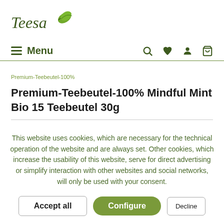[Figure (logo): Teesa brand logo with green leaf icon and italic serif text]
≡ Menu  🔍 ♥ 👤 🛒
Premium-Teebeutel-100%
Premium-Teebeutel-100% Mindful Mint Bio 15 Teebeutel 30g
This website uses cookies, which are necessary for the technical operation of the website and are always set. Other cookies, which increase the usability of this website, serve for direct advertising or simplify interaction with other websites and social networks, will only be used with your consent.
Accept all | Configure | Decline